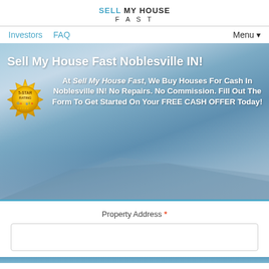SELL MY HOUSE FAST
Investors  FAQ  Menu ▼
Sell My House Fast Noblesville IN!
At Sell My House Fast, We Buy Houses For Cash In Noblesville IN! No Repairs. No Commission. Fill Out The Form To Get Started On Your FREE CASH OFFER Today!
[Figure (illustration): Gold 5-Star Rating Google badge/seal]
Property Address *